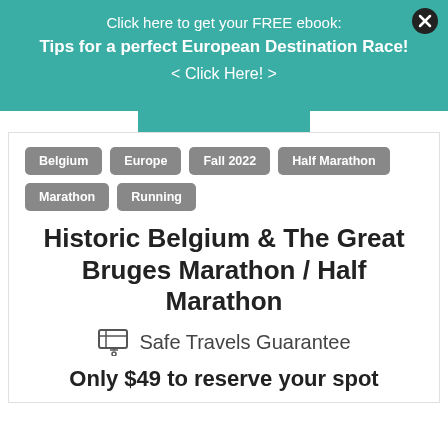Click here to get your FREE ebook:
Tips for a perfect European Destination Race!
< Click Here! >
Belgium
Europe
Fall 2022
Half Marathon
Marathon
Running
Historic Belgium & The Great Bruges Marathon / Half Marathon
Safe Travels Guarantee
Only $49 to reserve your spot